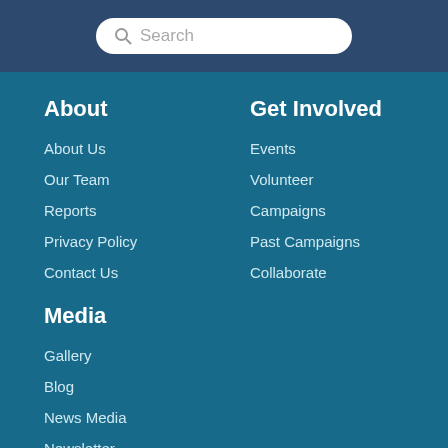Search
About
About Us
Our Team
Reports
Privacy Policy
Contact Us
Get Involved
Events
Volunteer
Campaigns
Past Campaigns
Collaborate
Media
Gallery
Blog
News Media
Newsletter